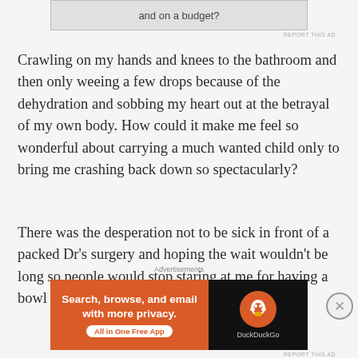[Figure (other): Top advertisement banner partially visible showing text 'and on a budget?' with a close/report button]
Crawling on my hands and knees to the bathroom and then only weeing a few drops because of the dehydration and sobbing my heart out at the betrayal of my own body. How could it make me feel so wonderful about carrying a much wanted child only to bring me crashing back down so spectacularly?
There was the desperation not to be sick in front of a packed Dr's surgery and hoping the wait wouldn't be long so people would stop staring at me for having a bowl on my lap. Of course they assumed I
Advertisements
[Figure (other): DuckDuckGo advertisement: 'Search, browse, and email with more privacy. All in One Free App' on orange background with DuckDuckGo logo on dark background]